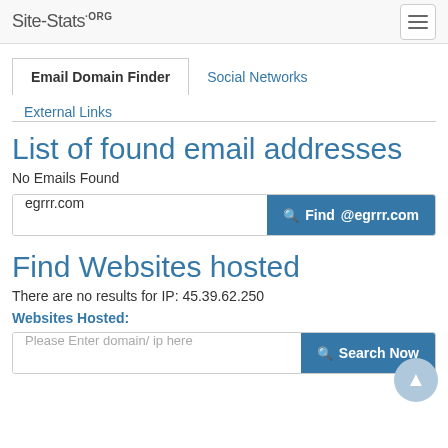Site-Stats.ORG
Email Domain Finder
Social Networks
External Links
List of found email addresses
No Emails Found
egrrr.com  Find @egrrr.com
Find Websites hosted
There are no results for IP: 45.39.62.250
Websites Hosted:
Please Enter domain/ ip here  Search Now